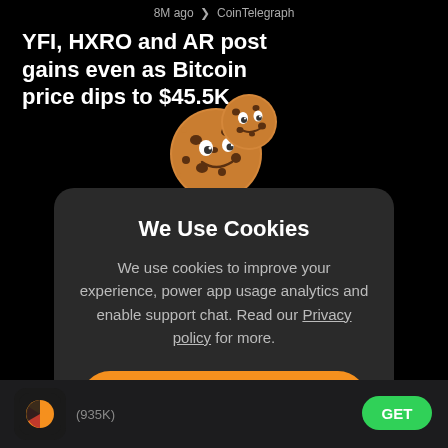8M ago  CoinTelegraph
YFI, HXRO and AR post gains even as Bitcoin price dips to $45.5K
[Figure (illustration): Two cartoon cookie emoji characters with smiling faces, chocolate chips, one larger and one smaller]
We Use Cookies
We use cookies to improve your experience, power app usage analytics and enable support chat. Read our Privacy policy for more.
I Accept
Manage
(935K)
GET